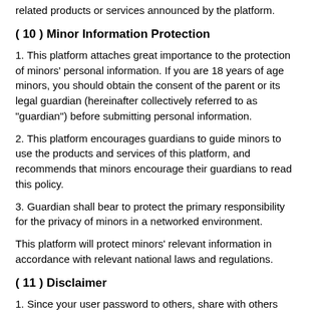related products or services announced by the platform.
( 10 ) Minor Information Protection
1. This platform attaches great importance to the protection of minors' personal information. If you are 18 years of age minors, you should obtain the consent of the parent or its legal guardian (hereinafter collectively referred to as "guardian") before submitting personal information.
2. This platform encourages guardians to guide minors to use the products and services of this platform, and recommends that minors encourage their guardians to read this policy.
3. Guardian shall bear to protect the primary responsibility for the privacy of minors in a networked environment.
This platform will protect minors' relevant information in accordance with relevant national laws and regulations.
( 11 ) Disclaimer
1. Since your user password to others, share with others registered account because of your personal or other improper care, any resulting